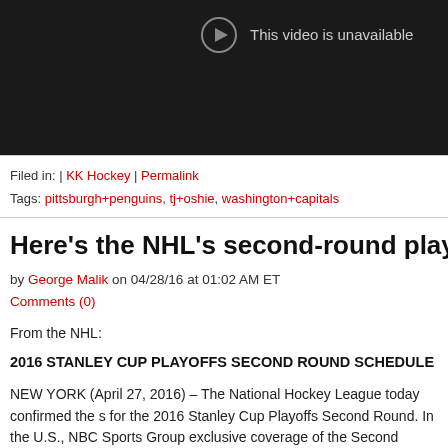[Figure (screenshot): Black video player placeholder showing a circle with play icon and text 'This video is unavailable']
Filed in: | KK Hockey | Permalink
Tags: pittsburgh+penguins, tj+oshie, washington+capitals
Here's the NHL's second-round playoff schedul
by George Malik on 04/28/16 at 01:02 AM ET
Comments (0)
From the NHL:
2016 STANLEY CUP PLAYOFFS SECOND ROUND SCHEDULE
NEW YORK (April 27, 2016) – The National Hockey League today confirmed the s for the 2016 Stanley Cup Playoffs Second Round. In the U.S., NBC Sports Group exclusive coverage of the Second Round. Sportsnet, CBC and TVA Sports continu exclusive coverage throughout Canada. All times listed are ET and subject to cha start times and television information will be released as they are determined.